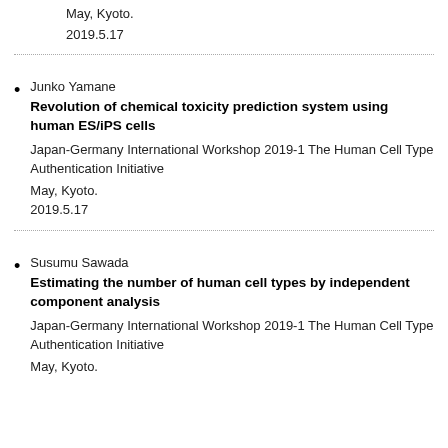May, Kyoto.
2019.5.17
Junko Yamane
Revolution of chemical toxicity prediction system using human ES/iPS cells
Japan-Germany International Workshop 2019-1 The Human Cell Type Authentication Initiative
May, Kyoto.
2019.5.17
Susumu Sawada
Estimating the number of human cell types by independent component analysis
Japan-Germany International Workshop 2019-1 The Human Cell Type Authentication Initiative
May, Kyoto.